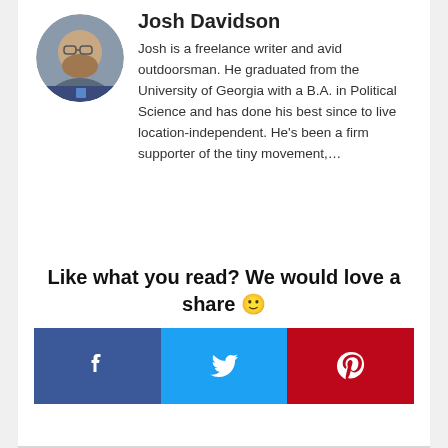Josh Davidson
Josh is a freelance writer and avid outdoorsman. He graduated from the University of Georgia with a B.A. in Political Science and has done his best since to live location-independent. He’s been a firm supporter of the tiny movement,…
Like what you read? We would love a share 😊
[Figure (infographic): Three social share buttons: Facebook (blue), Twitter (cyan), Pinterest (red) each with their respective icons in white.]